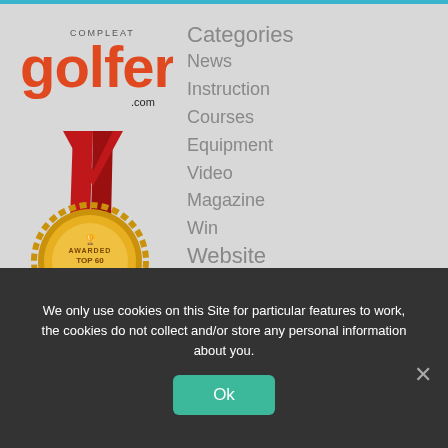[Figure (logo): Compleat Golfer .com logo in orange/red and black text]
[Figure (illustration): Gold medal with red ribbon awarded Top 60 Golf News Website]
Categories
News
Instruction
Courses
Equipment
Video
Magazine
Win
Website
Contact Us
Advertising
We only use cookies on this Site for particular features to work, the cookies do not collect and/or store any personal information about you.